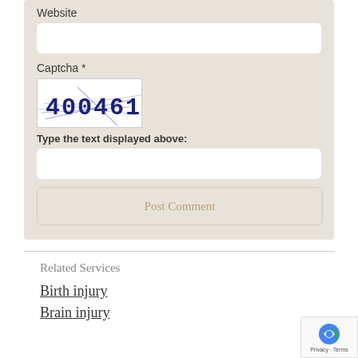Website
Captcha *
[Figure (other): CAPTCHA image showing distorted text '400461' in dark blue with strikethrough lines on white background]
Type the text displayed above:
Post Comment
Related Services
Birth injury
Brain injury